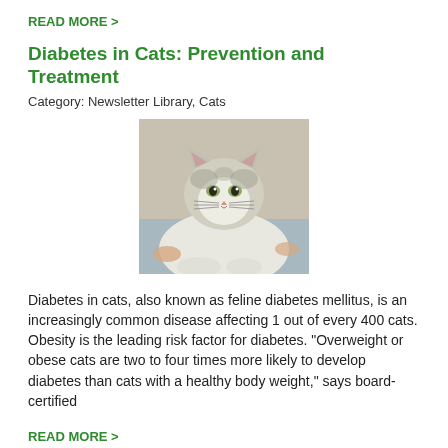READ MORE >
Diabetes in Cats: Prevention and Treatment
Category: Newsletter Library, Cats
[Figure (photo): A gray and white cat lying down, looking at the camera, photographed indoors.]
Diabetes in cats, also known as feline diabetes mellitus, is an increasingly common disease affecting 1 out of every 400 cats. Obesity is the leading risk factor for diabetes. "Overweight or obese cats are two to four times more likely to develop diabetes than cats with a healthy body weight," says board-certified
READ MORE >